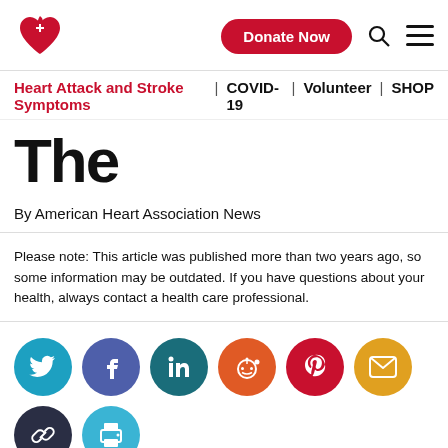American Heart Association — Donate Now | search | menu
Heart Attack and Stroke Symptoms | COVID-19 | Volunteer | SHOP
The
By American Heart Association News
Please note: This article was published more than two years ago, so some information may be outdated. If you have questions about your health, always contact a health care professional.
[Figure (infographic): Social sharing buttons row: Twitter (cyan), Facebook (purple), LinkedIn (teal), Reddit (orange), Pinterest (red), Email (yellow), Link (dark navy), Print (blue)]